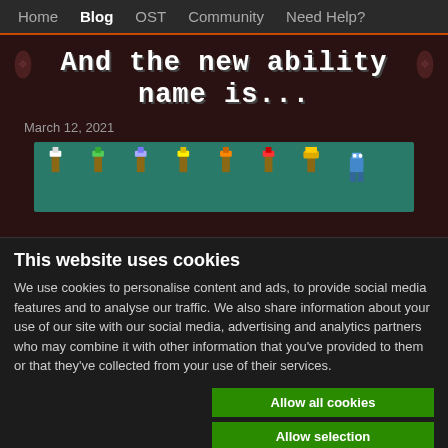Home  Blog  OST  Community  Need Help?
And the new ability name is...
March 12, 2021
[Figure (illustration): Row of 8 pixel-art character sprites (torches/heroes) on a teal background]
This website uses cookies
We use cookies to personalise content and ads, to provide social media features and to analyse our traffic. We also share information about your use of our site with our social media, advertising and analytics partners who may combine it with other information that you've provided to them or that they've collected from your use of their services.
Allow all cookies
Allow selection
Use necessary cookies only
Necessary  Preferences  Statistics  Marketing  Show details